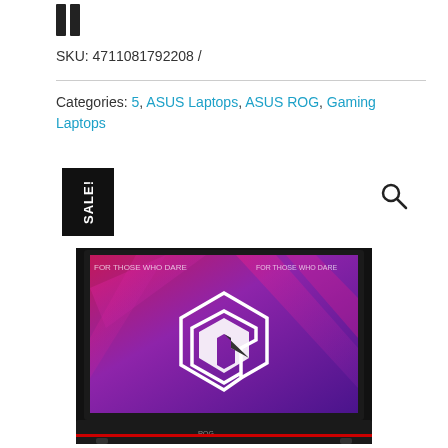[Figure (logo): Two vertical dark bars forming a logo mark at top left]
SKU: 4711081792208 /
Categories: 5, ASUS Laptops, ASUS ROG, Gaming Laptops
[Figure (other): Black SALE! badge with white vertical text]
[Figure (photo): ASUS ROG gaming laptop open showing ROG logo on purple/pink wallpaper on screen]